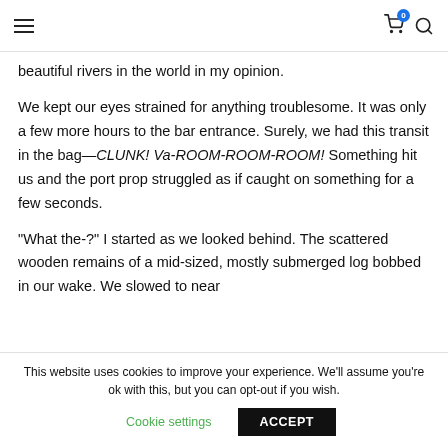Navigation header with hamburger menu, cart icon (badge: 0), and search icon
beautiful rivers in the world in my opinion.
We kept our eyes strained for anything troublesome. It was only a few more hours to the bar entrance. Surely, we had this transit in the bag—CLUNK! Va-ROOM-ROOM-ROOM! Something hit us and the port prop struggled as if caught on something for a few seconds.
"What the-?" I started as we looked behind. The scattered wooden remains of a mid-sized, mostly submerged log bobbed in our wake. We slowed to near
This website uses cookies to improve your experience. We'll assume you're ok with this, but you can opt-out if you wish. Cookie settings ACCEPT